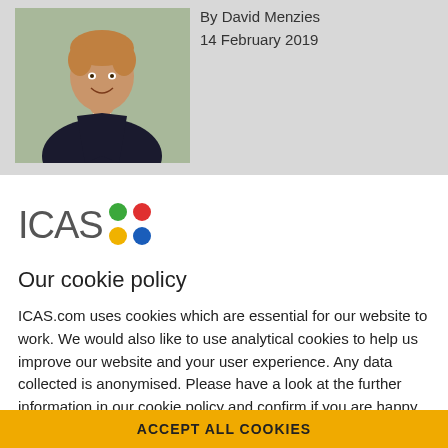[Figure (photo): Headshot of a man in a dark suit and red tie, smiling, with green foliage in the background]
By David Menzies
14 February 2019
[Figure (logo): ICAS logo with four colored dots (green, red, yellow, blue) arranged in a 2x2 grid]
Our cookie policy
ICAS.com uses cookies which are essential for our website to work. We would also like to use analytical cookies to help us improve our website and your user experience. Any data collected is anonymised. Please have a look at the further information in our cookie policy and confirm if you are happy for us to use analytical cookies:
ACCEPT ALL COOKIES